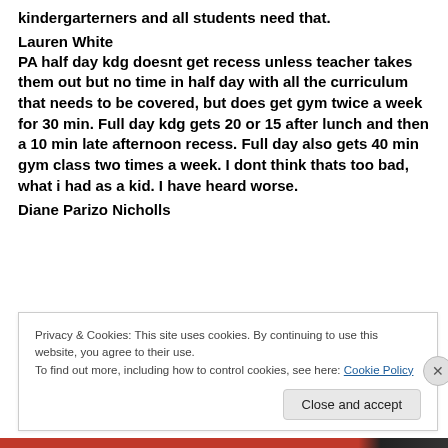kindergarterners and all students need that.
Lauren White
PA half day kdg doesnt get recess unless teacher takes them out but no time in half day with all the curriculum that needs to be covered, but does get gym twice a week for 30 min. Full day kdg gets 20 or 15 after lunch and then a 10 min late afternoon recess. Full day also gets 40 min gym class two times a week. I dont think thats too bad, what i had as a kid. I have heard worse.
Diane Parizo Nicholls
Privacy & Cookies: This site uses cookies. By continuing to use this website, you agree to their use.
To find out more, including how to control cookies, see here: Cookie Policy